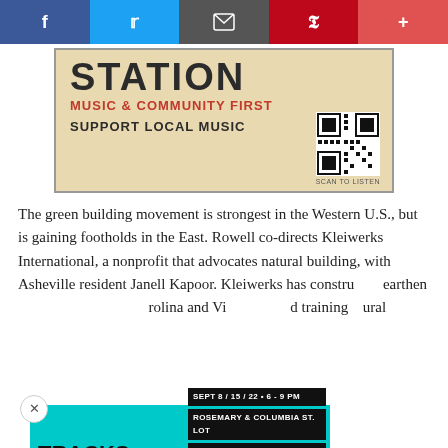[Figure (infographic): Social media share bar with Facebook, Twitter, email, Pinterest, and plus buttons]
[Figure (infographic): Station Music & Community First banner ad with QR code and 'SUPPORT LOCAL MUSIC' text]
The green building movement is strongest in the Western U.S., but is gaining footholds in the East. Rowell co-directs Kleiwerks International, a nonprofit that advocates natural building, with Asheville resident Janell Kapoor. Kleiwerks has constructed earthen buildings in North Carolina and Virginia and d training ural
[Figure (infographic): Tracks Music Series popup ad: SEPT 8/15/22 • 6-9 PM, ROSEMARY & COLUMBIA ST. LOT, DOWNTOWN CHAPEL HILL, FREE OUTDOOR CONCERTS, Community Arts & Culture, XDCH logos]